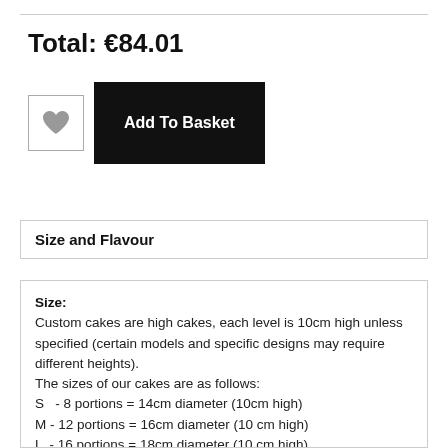Total:  €84.01
[Figure (other): Wishlist heart button (grey heart icon in a white square with border) and Add To Basket button (white text on black background)]
Size and Flavour
Size:
Custom cakes are high cakes, each level is 10cm high unless specified (certain models and specific designs may require different heights).
The sizes of our cakes are as follows:
S   - 8 portions = 14cm diameter (10cm high)
M - 12 portions = 16cm diameter (10 cm high)
L  - 16 portions = 18cm diameter (10 cm high)
Next size is a two tier cake (total height 20cm)